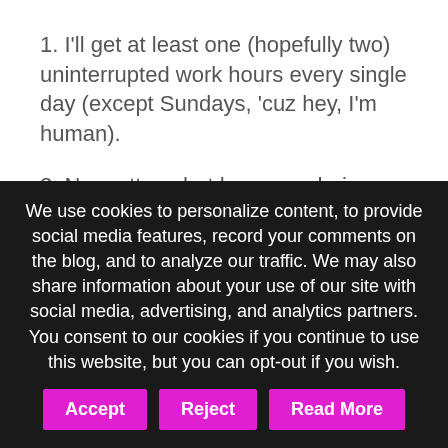1. I'll get at least one (hopefully two) uninterrupted work hours every single day (except Sundays, 'cuz hey, I'm human).
2. No matter what happens during the rest of each day/week, I'll get at least 12 hours of work in every week. And that's key. Consistency in getting work done is the only
We use cookies to personalize content, to provide social media features, record your comments on the blog, and to analyze our traffic. We may also share information about your use of our site with social media, advertising, and analytics partners. You consent to our cookies if you continue to use this website, but you can opt-out if you wish.